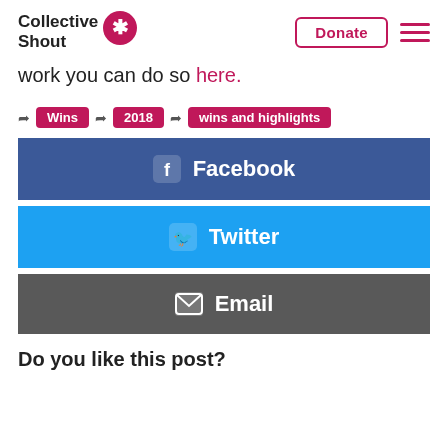Collective Shout | Donate
work you can do so here.
Wins · 2018 · wins and highlights
[Figure (infographic): Social share buttons: Facebook (dark blue), Twitter (light blue), Email (grey)]
Do you like this post?